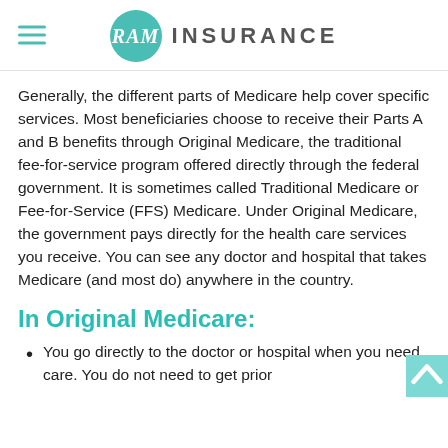RAM INSURANCE
Generally, the different parts of Medicare help cover specific services. Most beneficiaries choose to receive their Parts A and B benefits through Original Medicare, the traditional fee-for-service program offered directly through the federal government. It is sometimes called Traditional Medicare or Fee-for-Service (FFS) Medicare. Under Original Medicare, the government pays directly for the health care services you receive. You can see any doctor and hospital that takes Medicare (and most do) anywhere in the country.
In Original Medicare:
You go directly to the doctor or hospital when you need care. You do not need to get prior